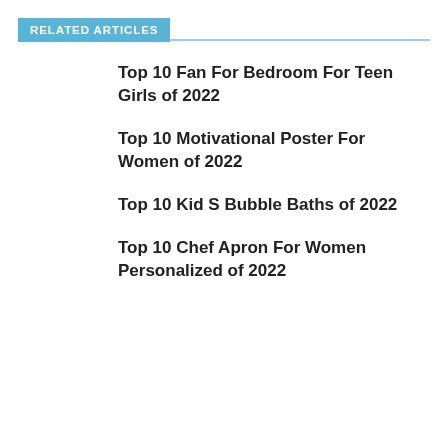RELATED ARTICLES
Top 10 Fan For Bedroom For Teen Girls of 2022
Top 10 Motivational Poster For Women of 2022
Top 10 Kid S Bubble Baths of 2022
Top 10 Chef Apron For Women Personalized of 2022